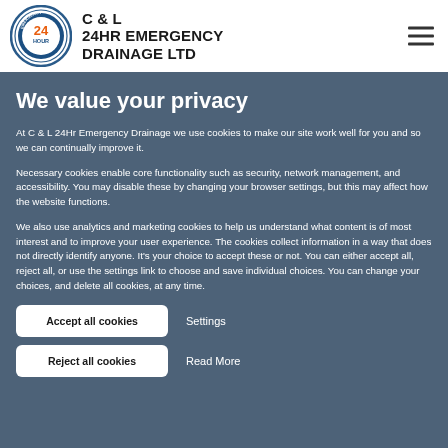[Figure (logo): C & L 24HR Emergency Drainage Ltd circular logo with orange 24 HOUR text and blue border with EMERGENCY SERVICE text]
C & L
24HR EMERGENCY
DRAINAGE LTD
We value your privacy
At C & L 24Hr Emergency Drainage we use cookies to make our site work well for you and so we can continually improve it.
Necessary cookies enable core functionality such as security, network management, and accessibility. You may disable these by changing your browser settings, but this may affect how the website functions.
We also use analytics and marketing cookies to help us understand what content is of most interest and to improve your user experience. The cookies collect information in a way that does not directly identify anyone. It's your choice to accept these or not. You can either accept all, reject all, or use the settings link to choose and save individual choices. You can change your choices, and delete all cookies, at any time.
Accept all cookies
Settings
Reject all cookies
Read More